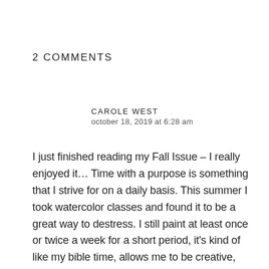2 COMMENTS
CAROLE WEST
october 18, 2019 at 6:28 am
I just finished reading my Fall Issue – I really enjoyed it… Time with a purpose is something that I strive for on a daily basis. This summer I took watercolor classes and found it to be a great way to destress. I still paint at least once or twice a week for a short period, it's kind of like my bible time, allows me to be creative,